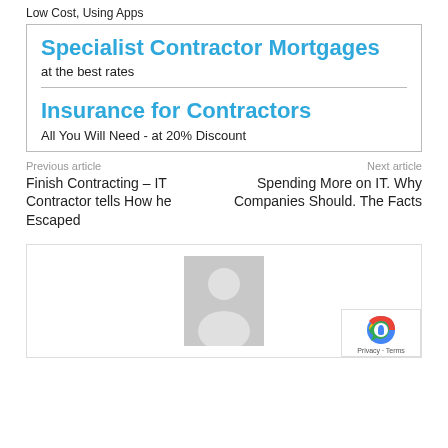Low Cost, Using Apps
Specialist Contractor Mortgages
at the best rates
Insurance for Contractors
All You Will Need - at 20% Discount
Previous article
Next article
Finish Contracting – IT Contractor tells How he Escaped
Spending More on IT. Why Companies Should. The Facts
[Figure (photo): Author avatar placeholder image with person silhouette on grey background, with reCAPTCHA badge overlay]